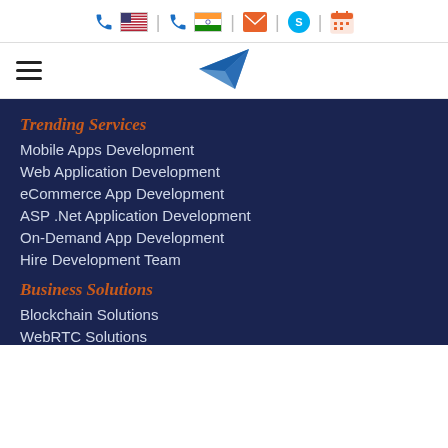[Figure (infographic): Top navigation bar with phone icons (US flag, India flag), email icon, Skype icon, and calendar icon separated by vertical bars]
[Figure (infographic): Navigation bar with hamburger menu on left and paper plane logo in center]
Trending Services
Mobile Apps Development
Web Application Development
eCommerce App Development
ASP .Net Application Development
On-Demand App Development
Hire Development Team
Business Solutions
Blockchain Solutions
WebRTC Solutions